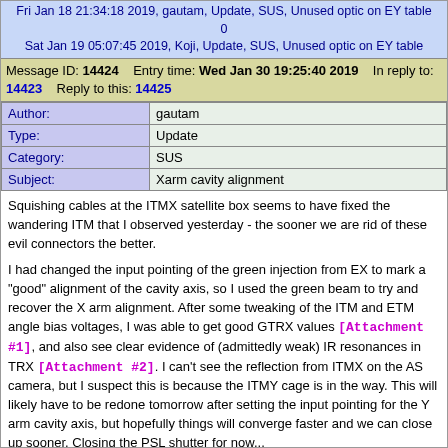Fri Jan 18 21:34:18 2019, gautam, Update, SUS, Unused optic on EY table
0
Sat Jan 19 05:07:45 2019, Koji, Update, SUS, Unused optic on EY table
Message ID: 14424   Entry time: Wed Jan 30 19:25:40 2019   In reply to: 14423   Reply to this: 14425
| Author: | gautam |
| --- | --- |
| Type: | Update |
| Category: | SUS |
| Subject: | Xarm cavity alignment |
Squishing cables at the ITMX satellite box seems to have fixed the wandering ITM that I observed yesterday - the sooner we are rid of these evil connectors the better.

I had changed the input pointing of the green injection from EX to mark a "good" alignment of the cavity axis, so I used the green beam to try and recover the X arm alignment. After some tweaking of the ITM and ETM angle bias voltages, I was able to get good GTRX values [Attachment #1], and also see clear evidence of (admittedly weak) IR resonances in TRX [Attachment #2]. I can't see the reflection from ITMX on the AS camera, but I suspect this is because the ITMY cage is in the way. This will likely have to be redone tomorrow after setting the input pointing for the Y arm cavity axis, but hopefully things will converge faster and we can close up sooner. Closing the PSL shutter for now...

I also rebooted the unresponsive c1susaux to facilitate the alignment work tomorrow.